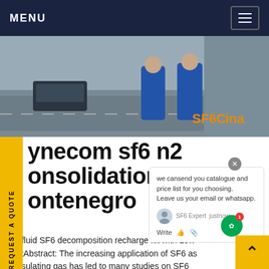MENU
[Figure (photo): Two workers in blue uniforms viewed from behind, walking on a road/industrial area with a car visible. SF6China watermark overlaid in orange.]
ynecom sf6 n2 onsolidation in ontenegro
we cansend you catalogue and price list for you choosing. Leave us your email or whatsapp.
afluid SF6 decomposition recharge kit with Low- stAbstract: The increasing application of SF6 as nsulating gas has led to many studies on SF6 decomposition in gas-insulated equipment. In the presence-of an electric arc, spark or corona, SF6 decomposes to a wide variety of chemically active products which possess completely different